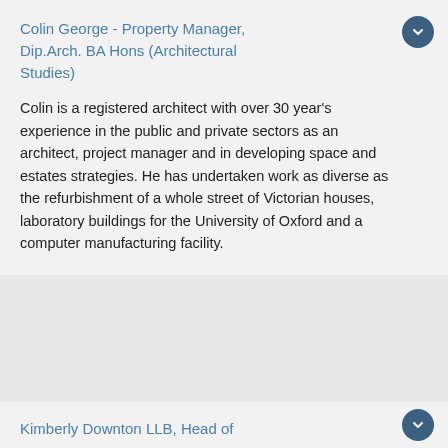Colin George - Property Manager, Dip.Arch. BA Hons (Architectural Studies)
Colin is a registered architect with over 30 year's experience in the public and private sectors as an architect, project manager and in developing space and estates strategies. He has undertaken work as diverse as the refurbishment of a whole street of Victorian houses, laboratory buildings for the University of Oxford and a computer manufacturing facility.
Kimberly Downton LLB, Head of